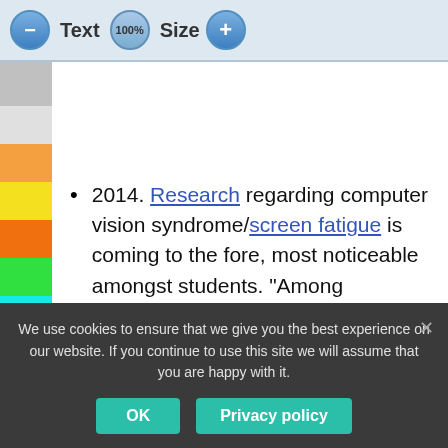[Figure (screenshot): Browser toolbar UI with minus button, Text label, 100% circle button, Size label, plus button]
2014. Research regarding computer vision syndrome/screen fatigue is coming to the fore, most noticeable amongst students. “Among engineering students, the prevalence of CVS was found to be 81.9% (176/215), while among medical students, it was found to
HIDE BARS
We use cookies to ensure that we give you the best experience on our website. If you continue to use this site we will assume that you are happy with it.
OK
Privacy policy